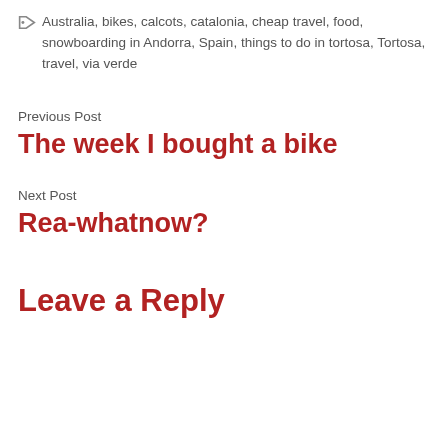Australia, bikes, calcots, catalonia, cheap travel, food, snowboarding in Andorra, Spain, things to do in tortosa, Tortosa, travel, via verde
Previous Post
The week I bought a bike
Next Post
Rea-whatnow?
Leave a Reply